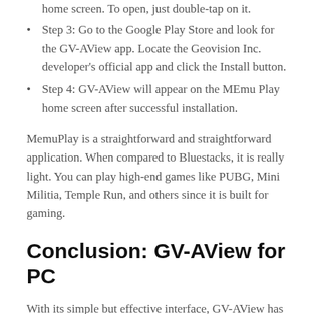the Google Play Store app from on the MEmuPlay home screen. To open, just double-tap on it.
Step 3: Go to the Google Play Store and look for the GV-AView app. Locate the Geovision Inc. developer's official app and click the Install button.
Step 4: GV-AView will appear on the MEmu Play home screen after successful installation.
MemuPlay is a straightforward and straightforward application. When compared to Bluestacks, it is really light. You can play high-end games like PUBG, Mini Militia, Temple Run, and others since it is built for gaming.
Conclusion: GV-AView for PC
With its simple but effective interface, GV-AView has gained a